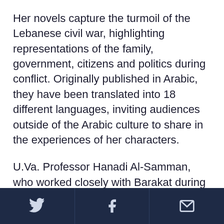Her novels capture the turmoil of the Lebanese civil war, highlighting representations of the family, government, citizens and politics during conflict. Originally published in Arabic, they have been translated into 18 different languages, inviting audiences outside of the Arabic culture to share in the experiences of her characters.
U.Va. Professor Hanadi Al-Samman, who worked closely with Barakat during her stay, compares her work to Toni Morrison, in that it gives a different perspective on the conflict of the time. “In her exploration of paradigms of power and violence in troubled societies, her insistence on locating their
Twitter | Facebook | Email icons